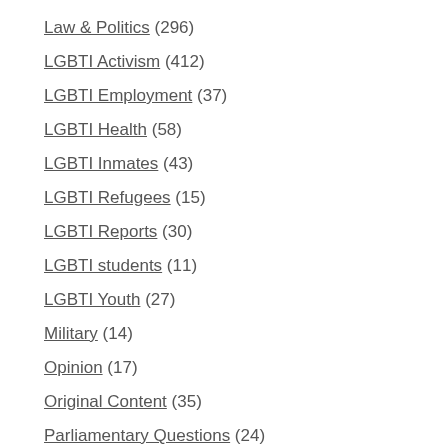Law & Politics (296)
LGBTI Activism (412)
LGBTI Employment (37)
LGBTI Health (58)
LGBTI Inmates (43)
LGBTI Refugees (15)
LGBTI Reports (30)
LGBTI students (11)
LGBTI Youth (27)
Military (14)
Opinion (17)
Original Content (35)
Parliamentary Questions (24)
Personal Stories (81)